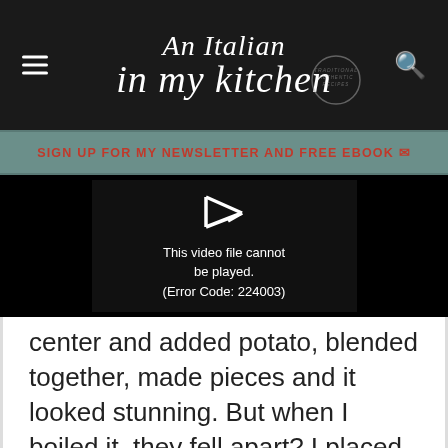An Italian in my kitchen
SIGN UP FOR MY NEWSLETTER AND FREE EBOOK ✉
[Figure (screenshot): Video player showing error: This video file cannot be played. (Error Code: 224003)]
center and added potato, blended together, made pieces and it looked stunning. But when I boiled it, they fell apart? I placed in fridge over night, and still they didn't